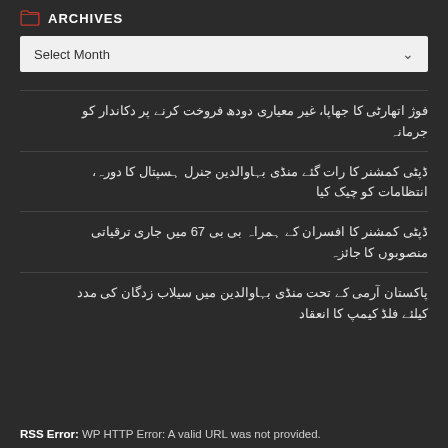ARCHIVES
Select Month
فوژ اتھارٹی کا جھاپا، غیر معیاری دودھ فروخت کرنے پر دکاندار کو جرمانہ
ڈپٹی کمشنر کا رات گئے منڈی بہاوالدین جنرل ہسپتال کا دورہ، انتظامات کو چیک کیا
ڈپٹی کمشنر کا افسران کے ہمراہ بی بی 67 میں جاری ترقیاتی منصوبوں کا جائزہ
پاکستان آرمی کے تحت منڈی بہاوالدین میں سیلاب زدگان کی مدد کیلئے فلڈ کیمپ کا انعقاد
RSS Error: WP HTTP Error: A valid URL was not provided.